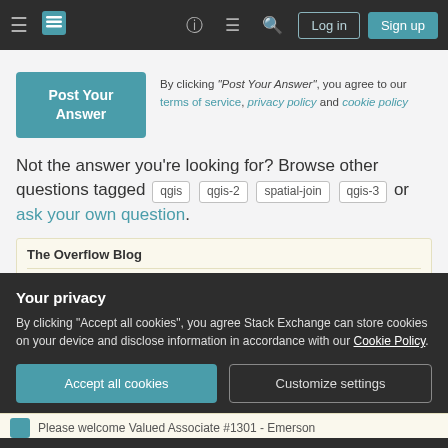Stack Exchange navigation bar with Log in and Sign up buttons
By clicking "Post Your Answer", you agree to our terms of service, privacy policy and cookie policy
Not the answer you're looking for? Browse other questions tagged qgis qgis-2 spatial-join qgis-3 or ask your own question.
The Overflow Blog
What companies lose when they track worker productivity
Your privacy
By clicking "Accept all cookies", you agree Stack Exchange can store cookies on your device and disclose information in accordance with our Cookie Policy.
Please welcome Valued Associate #1301 - Emerson